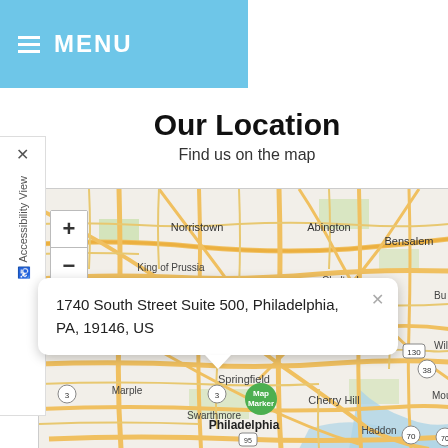≡ MENU
Our Location
Find us on the map
[Figure (map): Street map showing Philadelphia area with locations including Norristown, Abington, Bensalem, King of Prussia, Cheltenham, Marple, Springfield, Swarthmore, Philadelphia, Cherry Hill, Haddon, Mount, with zoom +/- controls and a map marker. Route numbers 3, 130, 38, 70, 95 visible.]
1740 South Street Suite 500, Philadelphia, PA, 19146, US